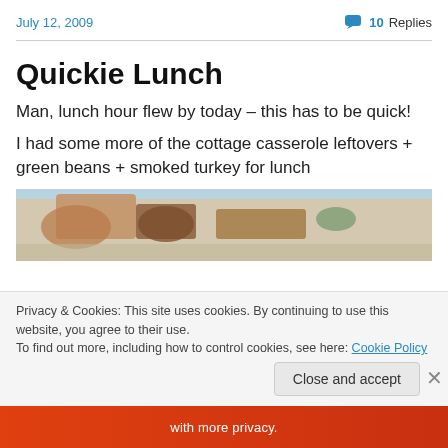July 12, 2009    💬 10 Replies
Quickie Lunch
Man, lunch hour flew by today – this has to be quick!
I had some more of the cottage casserole leftovers + green beans + smoked turkey for lunch
[Figure (photo): Photo of a meal with cottage casserole, green beans, and smoked turkey on a plate]
Privacy & Cookies: This site uses cookies. By continuing to use this website, you agree to their use. To find out more, including how to control cookies, see here: Cookie Policy
Close and accept